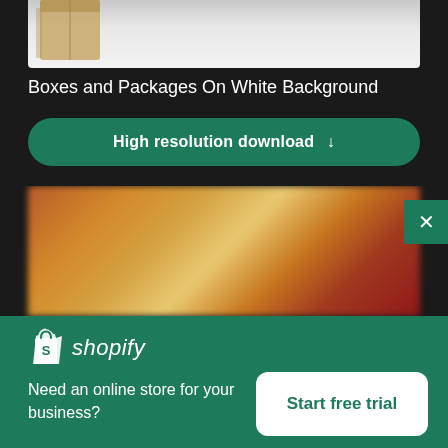[Figure (photo): Partial view of boxes and packages on white background, top portion visible]
Boxes and Packages On White Background
High resolution download ↓
[Figure (photo): Blurred/out-of-focus image of colorful packages or autumn items]
[Figure (logo): Shopify logo with shopping bag icon and italic shopify text]
Need an online store for your business?
Start free trial